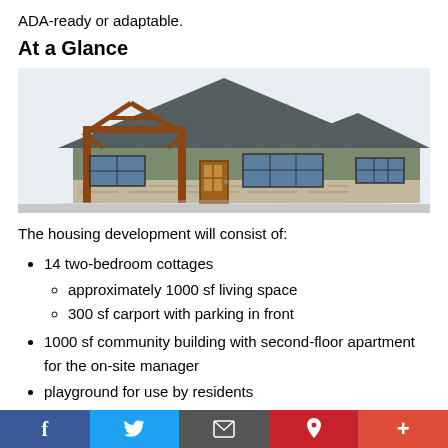ADA-ready or adaptable.
At a Glance
[Figure (illustration): Architectural rendering of a single-story residential cottage building with timber frame porch, metal roof, stone and green siding, and multiple windows.]
The housing development will consist of:
14 two-bedroom cottages
approximately 1000 sf living space
300 sf carport with parking in front
1000 sf community building with second-floor apartment for the on-site manager
playground for use by residents
Social sharing bar: Facebook, Twitter, Email, Pinterest, More